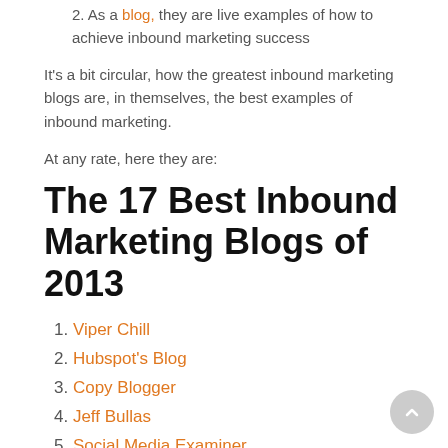As a blog, they are live examples of how to achieve inbound marketing success
It's a bit circular, how the greatest inbound marketing blogs are, in themselves, the best examples of inbound marketing.
At any rate, here they are:
The 17 Best Inbound Marketing Blogs of 2013
1. Viper Chill
2. Hubspot's Blog
3. Copy Blogger
4. Jeff Bullas
5. Social Media Examiner
6. Seth Godin's Blog
7. Jacob King's Blog
8. Nick Eubanks's Blog
9. Quick Sprout Blog
10. Moz Blog